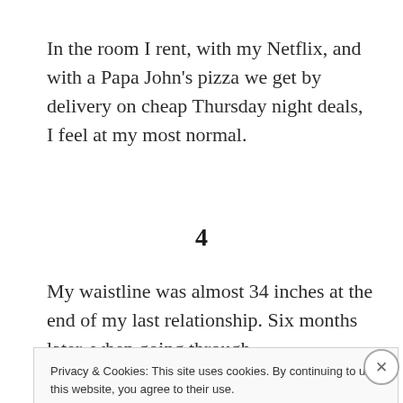In the room I rent, with my Netflix, and with a Papa John's pizza we get by delivery on cheap Thursday night deals, I feel at my most normal.
4
My waistline was almost 34 inches at the end of my last relationship. Six months later, when going through
Privacy & Cookies: This site uses cookies. By continuing to use this website, you agree to their use.
To find out more, including how to control cookies, see here: Cookie Policy
Close and accept